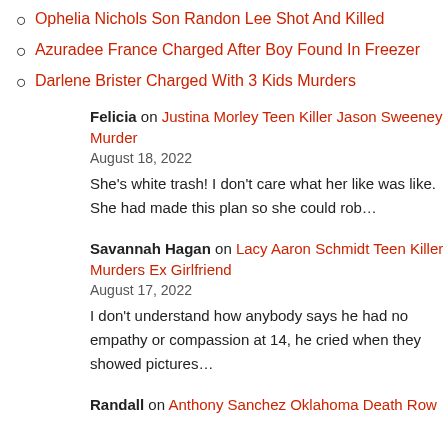Ophelia Nichols Son Randon Lee Shot And Killed
Azuradee France Charged After Boy Found In Freezer
Darlene Brister Charged With 3 Kids Murders
Felicia on Justina Morley Teen Killer Jason Sweeney Murder
August 18, 2022
She’s white trash! I don’t care what her like was like. She had made this plan so she could rob…
Savannah Hagan on Lacy Aaron Schmidt Teen Killer Murders Ex Girlfriend
August 17, 2022
I don’t understand how anybody says he had no empathy or compassion at 14, he cried when they showed pictures…
Randall on Anthony Sanchez Oklahoma Death Row